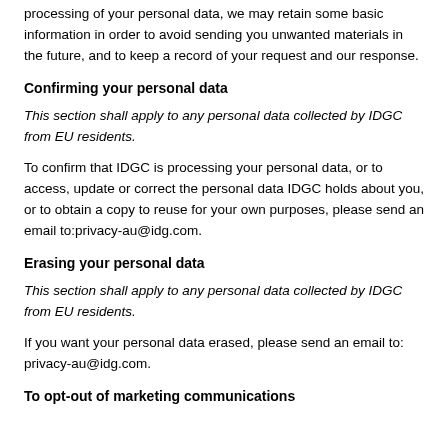processing of your personal data, we may retain some basic information in order to avoid sending you unwanted materials in the future, and to keep a record of your request and our response.
Confirming your personal data
This section shall apply to any personal data collected by IDGC from EU residents.
To confirm that IDGC is processing your personal data, or to access, update or correct the personal data IDGC holds about you, or to obtain a copy to reuse for your own purposes, please send an email to:privacy-au@idg.com.
Erasing your personal data
This section shall apply to any personal data collected by IDGC from EU residents.
If you want your personal data erased, please send an email to: privacy-au@idg.com.
To opt-out of marketing communications